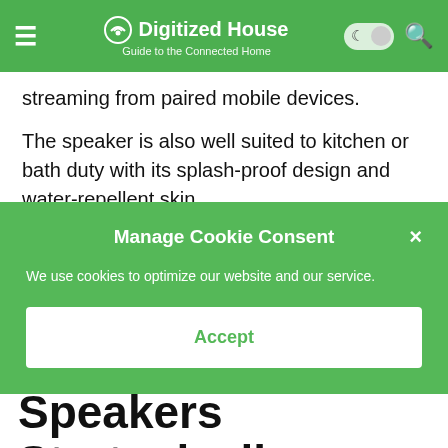Digitized House — Guide to the Connected Home
streaming from paired mobile devices.
The speaker is also well suited to kitchen or bath duty with its splash-proof design and water-repellent skin.
Manage Cookie Consent
We use cookies to optimize our website and our service.
Accept
Place Your Speakers Strategically